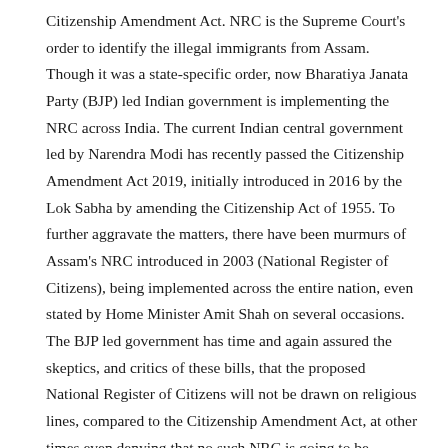Citizenship Amendment Act. NRC is the Supreme Court's order to identify the illegal immigrants from Assam. Though it was a state-specific order, now Bharatiya Janata Party (BJP) led Indian government is implementing the NRC across India. The current Indian central government led by Narendra Modi has recently passed the Citizenship Amendment Act 2019, initially introduced in 2016 by the Lok Sabha by amending the Citizenship Act of 1955. To further aggravate the matters, there have been murmurs of Assam's NRC introduced in 2003 (National Register of Citizens), being implemented across the entire nation, even stated by Home Minister Amit Shah on several occasions. The BJP led government has time and again assured the skeptics, and critics of these bills, that the proposed National Register of Citizens will not be drawn on religious lines, compared to the Citizenship Amendment Act, at other times even denying that no such NRC is going to be officially introduced (Kuchay 2019). Finally, it is happening!